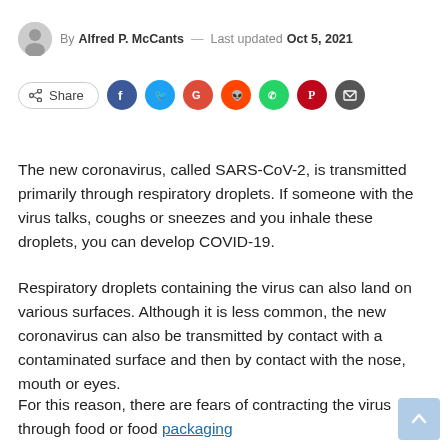By Alfred P. McCants — Last updated Oct 5, 2021
[Figure (infographic): Social share buttons row: Share button outline, followed by circular icon buttons for Facebook, Twitter, Google+, Reddit, WhatsApp, Pinterest, and Email]
The new coronavirus, called SARS-CoV-2, is transmitted primarily through respiratory droplets. If someone with the virus talks, coughs or sneezes and you inhale these droplets, you can develop COVID-19.
Respiratory droplets containing the virus can also land on various surfaces. Although it is less common, the new coronavirus can also be transmitted by contact with a contaminated surface and then by contact with the nose, mouth or eyes.
For this reason, there are fears of contracting the virus through food or food packaging.